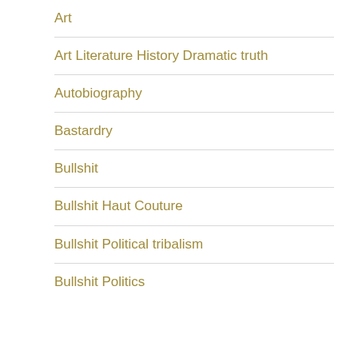Art
Art Literature History Dramatic truth
Autobiography
Bastardry
Bullshit
Bullshit Haut Couture
Bullshit Political tribalism
Bullshit Politics